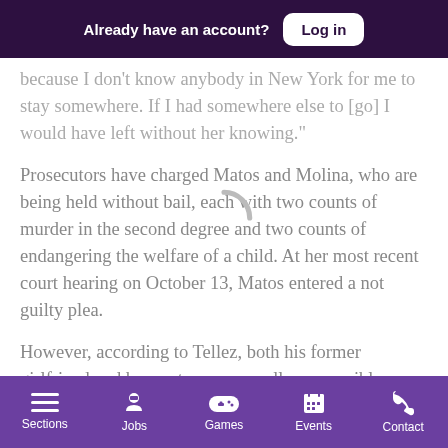Already have an account? Log in
because I don’t know anybody in New York for me to stay somewhere. If I had somewhere else to [go] I would have left without her knowing.”
Prosecutors have charged Matos and Molina, who are being held without bail, each with two counts of murder in the second degree and two counts of endangering the welfare of a child. At her most recent court hearing on October 13, Matos entered a not guilty plea.
However, according to Tellez, both his former girlfriend and her partner are equally responsible.
“I think it was both of them,” the grieving father said, before
Sections  Jobs  Games  Events  Contact